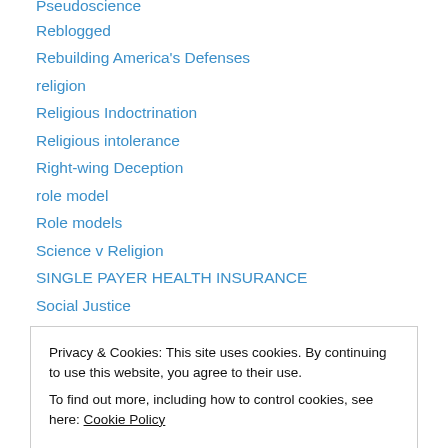Pseudoscience
Reblogged
Rebuilding America's Defenses
religion
Religious Indoctrination
Religious intolerance
Right-wing Deception
role model
Role models
Science v Religion
SINGLE PAYER HEALTH INSURANCE
Social Justice
Social Justice, Political Justice
Privacy & Cookies: This site uses cookies. By continuing to use this website, you agree to their use.
To find out more, including how to control cookies, see here: Cookie Policy
U.S. economy